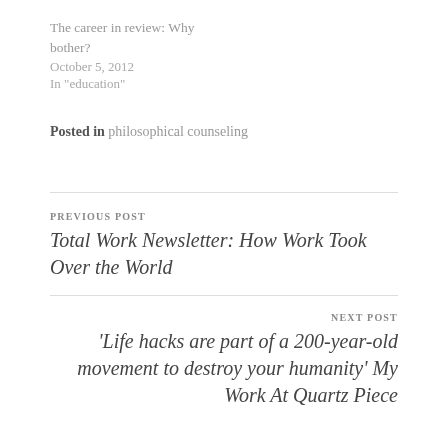The career in review: Why bother?
October 5, 2012
In "education"
Posted in philosophical counseling
PREVIOUS POST
Total Work Newsletter: How Work Took Over the World
NEXT POST
'Life hacks are part of a 200-year-old movement to destroy your humanity' My Work At Quartz Piece